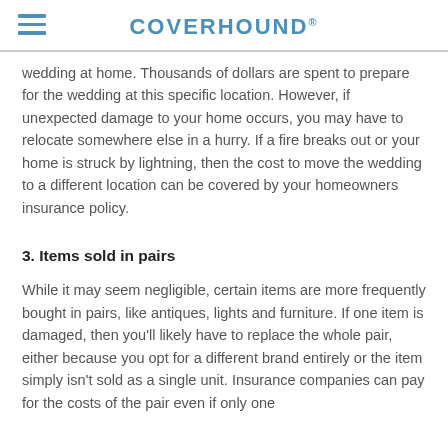COVERHOUND
wedding at home. Thousands of dollars are spent to prepare for the wedding at this specific location. However, if unexpected damage to your home occurs, you may have to relocate somewhere else in a hurry. If a fire breaks out or your home is struck by lightning, then the cost to move the wedding to a different location can be covered by your homeowners insurance policy.
3. Items sold in pairs
While it may seem negligible, certain items are more frequently bought in pairs, like antiques, lights and furniture. If one item is damaged, then you'll likely have to replace the whole pair, either because you opt for a different brand entirely or the item simply isn't sold as a single unit. Insurance companies can pay for the costs of the pair even if only one